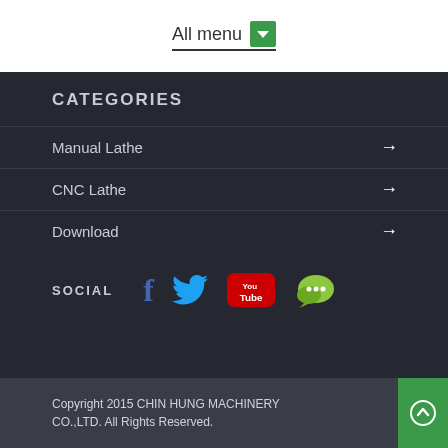All menu
CATEGORIES
Manual Lathe
CNC Lathe
Download
SOCIAL
Copyright 2015 CHIN HUNG MACHINERY CO.,LTD. All Rights Reserved.